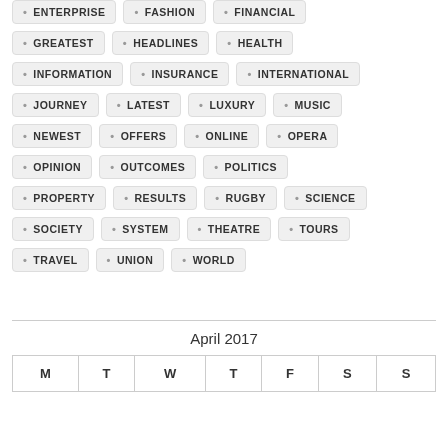ENTERPRISE
FASHION
FINANCIAL
GREATEST
HEADLINES
HEALTH
INFORMATION
INSURANCE
INTERNATIONAL
JOURNEY
LATEST
LUXURY
MUSIC
NEWEST
OFFERS
ONLINE
OPERA
OPINION
OUTCOMES
POLITICS
PROPERTY
RESULTS
RUGBY
SCIENCE
SOCIETY
SYSTEM
THEATRE
TOURS
TRAVEL
UNION
WORLD
| M | T | W | T | F | S | S |
| --- | --- | --- | --- | --- | --- | --- |